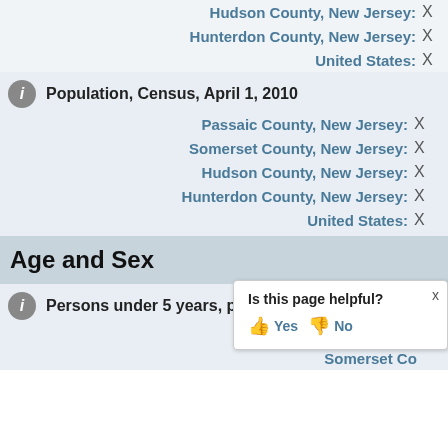Hudson County, New Jersey: X
Hunterdon County, New Jersey: X
United States: X
Population, Census, April 1, 2010
Passaic County, New Jersey: X
Somerset County, New Jersey: X
Hudson County, New Jersey: X
Hunterdon County, New Jersey: X
United States: X
Age and Sex
Persons under 5 years, percent
Passaic County, New Jersey:
Somerset County, New Jersey: